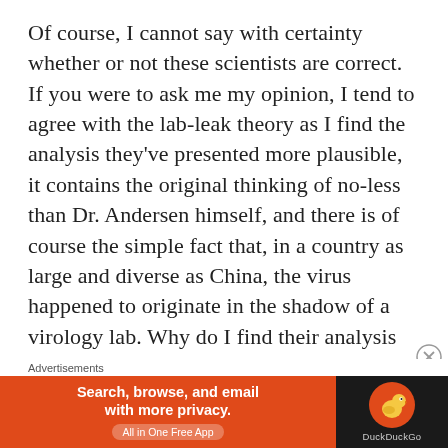Of course, I cannot say with certainty whether or not these scientists are correct.  If you were to ask me my opinion, I tend to agree with the lab-leak theory as I find the analysis they've presented more plausible, it contains the original thinking of no-less than Dr. Andersen himself, and there is of course the simple fact that, in a country as large and diverse as China, the virus happened to originate in the shadow of a virology lab.  Why do I find their analysis of the genome more plausible?  Because natural evolution must by necessity work in a step-by-step fashion.  Genes rarely, if ever, mutate in
Advertisements
[Figure (other): DuckDuckGo advertisement banner with orange left panel showing 'Search, browse, and email with more privacy. All in One Free App' and dark right panel with DuckDuckGo logo and brand name.]